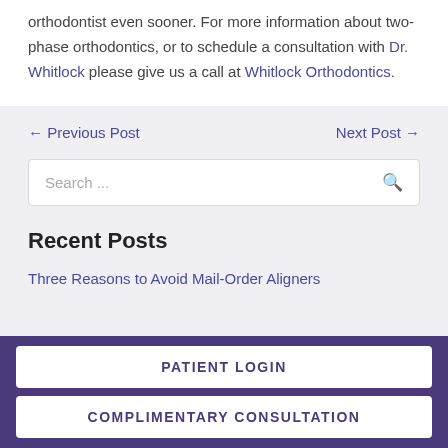orthodontist even sooner. For more information about two-phase orthodontics, or to schedule a consultation with Dr. Whitlock please give us a call at Whitlock Orthodontics.
← Previous Post    Next Post →
Search ...
Recent Posts
Three Reasons to Avoid Mail-Order Aligners
PATIENT LOGIN
COMPLIMENTARY CONSULTATION